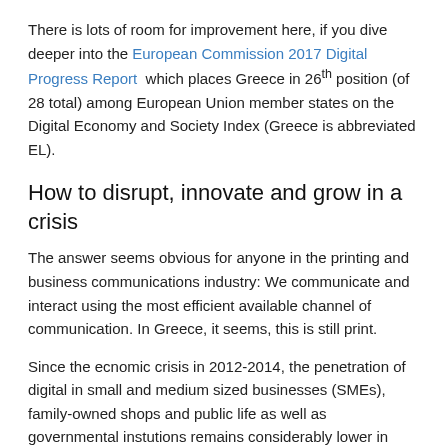There is lots of room for improvement here, if you dive deeper into the European Commission 2017 Digital Progress Report  which places Greece in 26th position (of 28 total) among European Union member states on the Digital Economy and Society Index (Greece is abbreviated EL).
How to disrupt, innovate and grow in a crisis
The answer seems obvious for anyone in the printing and business communications industry: We communicate and interact using the most efficient available channel of communication. In Greece, it seems, this is still print.
Since the ecnomic crisis in 2012-2014, the penetration of digital in small and medium sized businesses (SMEs), family-owned shops and public life as well as governmental instutions remains considerably lower in Greece than I have seen elsewhere in Europe or Overseas. There were no opportunities to make